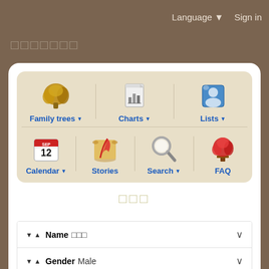Language ▼  Sign in
□□□□□□□
[Figure (screenshot): Navigation menu with icons: Family trees, Charts, Lists, Calendar, Stories, Search, FAQ]
□□□
| ▼ ▲ Name □□□ | ∨ |
| ▼ ▲ Gender Male | ∨ |